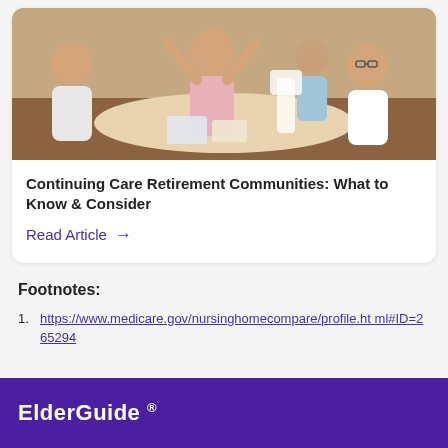[Figure (photo): Elderly people sitting around a table, smiling and raising their arms in celebration]
Continuing Care Retirement Communities: What to Know & Consider
Read Article →
Footnotes:
1. https://www.medicare.gov/nursinghomecompare/profile.html#ID=265294
ElderGuide ®